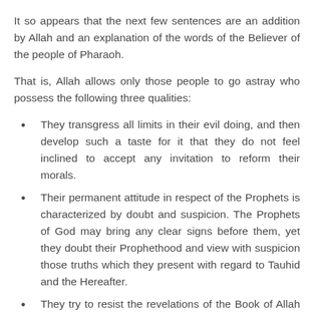It so appears that the next few sentences are an addition by Allah and an explanation of the words of the Believer of the people of Pharaoh.
That is, Allah allows only those people to go astray who possess the following three qualities:
They transgress all limits in their evil doing, and then develop such a taste for it that they do not feel inclined to accept any invitation to reform their morals.
Their permanent attitude in respect of the Prophets is characterized by doubt and suspicion. The Prophets of God may bring any clear signs before them, yet they doubt their Prophethood and view with suspicion those truths which they present with regard to Tauhid and the Hereafter.
They try to resist the revelations of the Book of Allah with crooked arguments, instead of